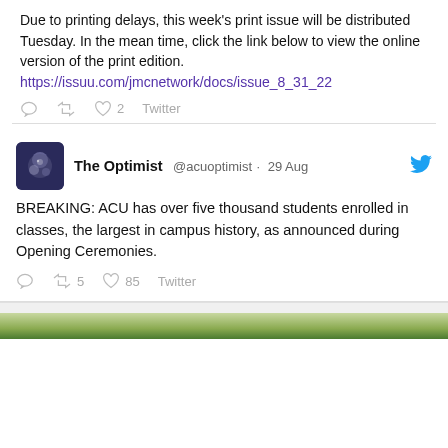Due to printing delays, this week's print issue will be distributed Tuesday. In the mean time, click the link below to view the online version of the print edition. https://issuu.com/jmcnetwork/docs/issue_8_31_22
2 Twitter
The Optimist @acuoptimist · 29 Aug
BREAKING: ACU has over five thousand students enrolled in classes, the largest in campus history, as announced during Opening Ceremonies.
5 85 Twitter